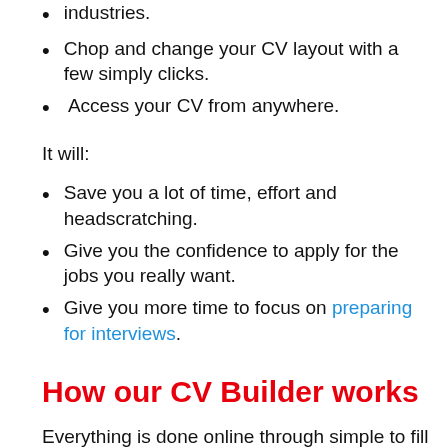industries.
Chop and change your CV layout with a few simply clicks.
Access your CV from anywhere.
It will:
Save you a lot of time, effort and headscratching.
Give you the confidence to apply for the jobs you really want.
Give you more time to focus on preparing for interviews.
How our CV Builder works
Everything is done online through simple to fill in forms. All you have to do is: